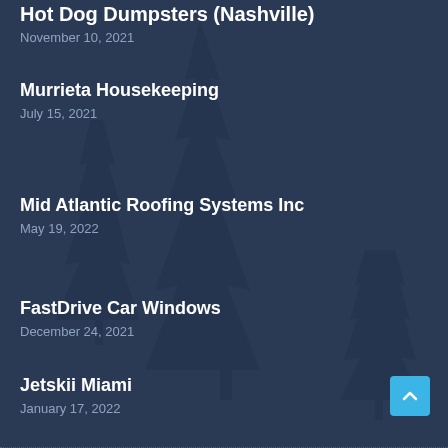Hot Dog Dumpsters (Nashville)
November 10, 2021
Murrieta Housekeeping
July 15, 2021
Mid Atlantic Roofing Systems Inc
May 19, 2022
FastDrive Car Windows
December 24, 2021
Jetskii Miami
January 17, 2022